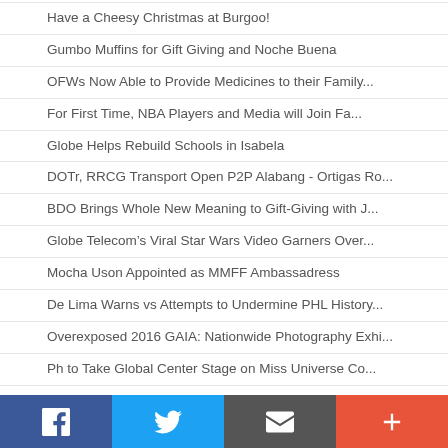Have a Cheesy Christmas at Burgoo!
Gumbo Muffins for Gift Giving and Noche Buena
OFWs Now Able to Provide Medicines to their Family...
For First Time, NBA Players and Media will Join Fa...
Globe Helps Rebuild Schools in Isabela
DOTr, RRCG Transport Open P2P Alabang - Ortigas Ro...
BDO Brings Whole New Meaning to Gift-Giving with J...
Globe Telecom's Viral Star Wars Video Garners Over...
Mocha Uson Appointed as MMFF Ambassadress
De Lima Warns vs Attempts to Undermine PHL History...
Overexposed 2016 GAIA: Nationwide Photography Exhi...
Ph to Take Global Center Stage on Miss Universe Co...
Social share bar with Facebook, Twitter, Email, and More buttons